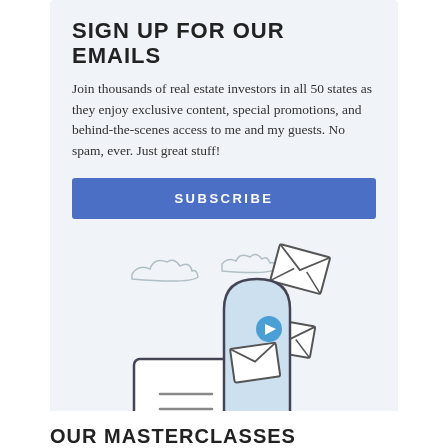SIGN UP FOR OUR EMAILS
Join thousands of real estate investors in all 50 states as they enjoy exclusive content, special promotions, and behind-the-scenes access to me and my guests. No spam, ever. Just great stuff!
[Figure (illustration): Blue subscribe button followed by an illustration of a mailbox with envelopes flying out of it, set against a light blue-grey background with decorative clouds]
OUR MASTERCLASSES